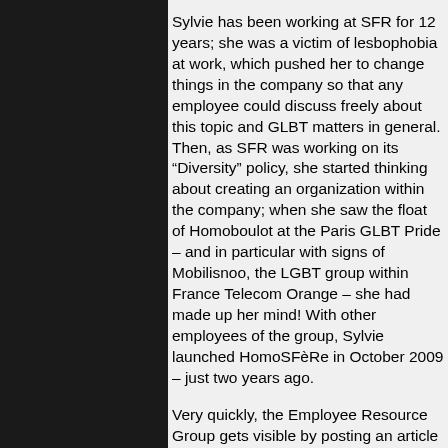Sylvie has been working at SFR for 12 years; she was a victim of lesbophobia at work, which pushed her to change things in the company so that any employee could discuss freely about this topic and GLBT matters in general. Then, as SFR was working on its “Diversity” policy, she started thinking about creating an organization within the company; when she saw the float of Homoboulot at the Paris GLBT Pride – and in particular with signs of Mobilisnoo, the LGBT group within France Telecom Orange – she had made up her mind! With other employees of the group, Sylvie launched HomoSFèRe in October 2009 – just two years ago.
Very quickly, the Employee Resource Group gets visible by posting an article on the company-wide intranet which allows to get a snapshot of the perception of people, with some hostile reactions arguing the usual